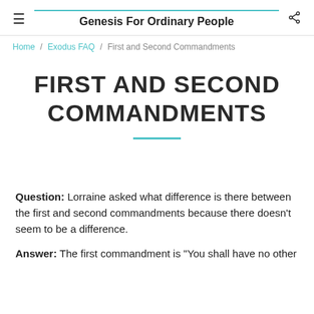Genesis For Ordinary People
Home / Exodus FAQ / First and Second Commandments
FIRST AND SECOND COMMANDMENTS
Question: Lorraine asked what difference is there between the first and second commandments because there doesn't seem to be a difference.
Answer: The first commandment is "You shall have no other